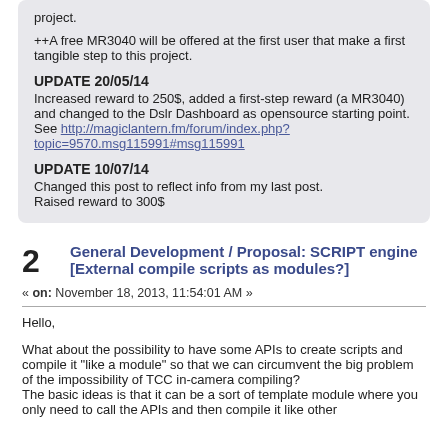project.
++A free MR3040 will be offered at the first user that make a first tangible step to this project.
UPDATE 20/05/14
Increased reward to 250$, added a first-step reward (a MR3040) and changed to the Dslr Dashboard as opensource starting point. See http://magiclantern.fm/forum/index.php?topic=9570.msg115991#msg115991
UPDATE 10/07/14
Changed this post to reflect info from my last post.
Raised reward to 300$
General Development / Proposal: SCRIPT engine [External compile scripts as modules?]
« on: November 18, 2013, 11:54:01 AM »
Hello,
What about the possibility to have some APIs to create scripts and compile it "like a module" so that we can circumvent the big problem of the impossibility of TCC in-camera compiling?
The basic ideas is that it can be a sort of template module where you only need to call the APIs and then compile it like other